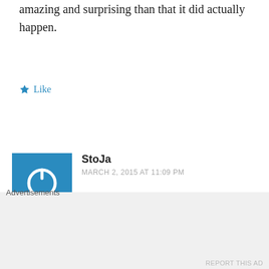amazing and surprising than that it did actually happen.
Like
StoJa
MARCH 2, 2015 AT 11:09 PM
Did you read some of the absolute FILTH these lowlife scum were writing? I mean you walked right up to the line and stopped just short of saying he
Advertisements
REPORT THIS AD